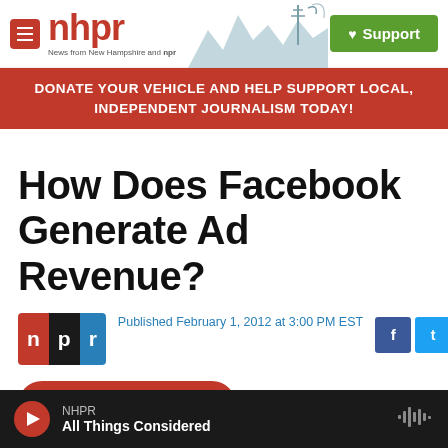nhpr — News from New Hampshire and NPR | Support
DONATE YOUR VEHICLE AND HELP SUPPORT LOCAL, INDEPENDENT JOURNALISM TODAY!
How Does Facebook Generate Ad Revenue?
Published February 1, 2012 at 3:00 PM EST
LISTEN • 4:13
NHPR — All Things Considered